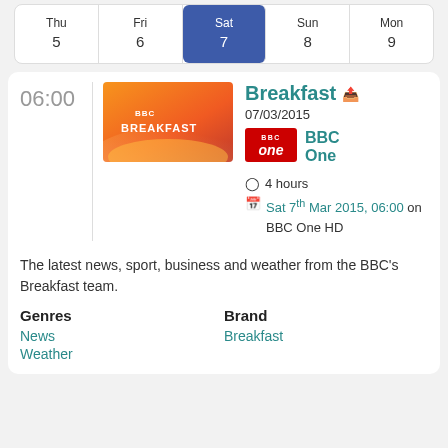| Thu 5 | Fri 6 | Sat 7 | Sun 8 | Mon 9 |
| --- | --- | --- | --- | --- |
06:00
[Figure (illustration): BBC Breakfast logo on orange gradient background]
Breakfast
07/03/2015
[Figure (logo): BBC One red badge logo]
BBC One
4 hours
Sat 7th Mar 2015, 06:00 on BBC One HD
The latest news, sport, business and weather from the BBC's Breakfast team.
Genres
Brand
News
Breakfast
Weather